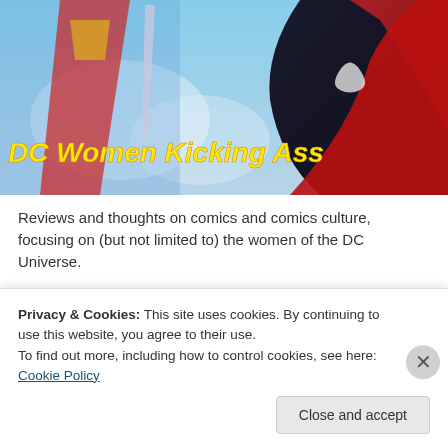[Figure (illustration): DC Women Kicking Ass blog banner featuring illustrated DC female superheroes including Batwoman in black costume and Wonder Woman with golden yellow italic bold text overlay reading 'DC Women Kicking Ass']
Reviews and thoughts on comics and comics culture, focusing on (but not limited to) the women of the DC Universe.
Advertisements
[Figure (logo): Longreads advertisement banner: red background with white circle containing letter L and text LONGREADS in white serif font with decorative horizontal lines on sides]
Privacy & Cookies: This site uses cookies. By continuing to use this website, you agree to their use.
To find out more, including how to control cookies, see here: Cookie Policy
Close and accept